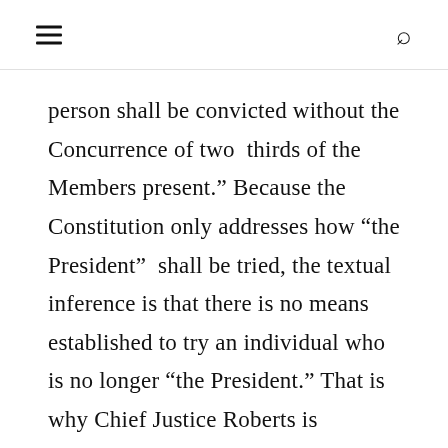person shall be convicted without the Concurrence of two thirds of the Members present.” Because the Constitution only addresses how “the President” shall be tried, the textual inference is that there is no means established to try an individual who is no longer “the President.” That is why Chief Justice Roberts is nowhere to be found.